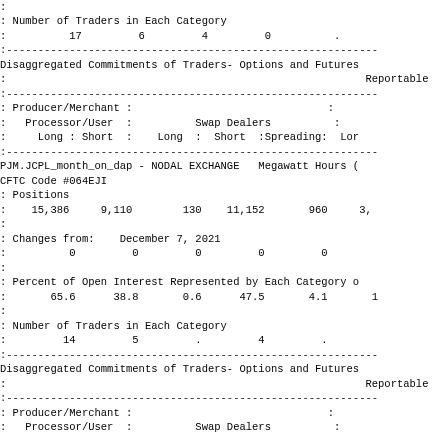: Number of Traders in Each Category
:          17         6         4         0          .
Disaggregated Commitments of Traders- Options and Futures
:                                                         Reportable
| Producer/Merchant |  | Swap Dealers |  |  |
| --- | --- | --- | --- | --- |
| : Producer/Merchant : |  |  |  | : |
| :   Processor/User  : | Swap Dealers |  | : |  |
| :     Long : Short : | Long : | Short :Spreading: | Lor |  |
PJM.JCPL_month_on_dap - NODAL EXCHANGE  Megawatt Hours (
CFTC Code #064EJI
: Positions
:    15,386     9,110        130    11,152       960     3,
: Changes from:    December 7, 2021
:          0         0         0         0         0
: Percent of Open Interest Represented by Each Category o
:       65.6      38.8       0.6      47.5       4.1       1
: Number of Traders in Each Category
:         14         5         .         4         .
Disaggregated Commitments of Traders- Options and Futures
:                                                         Reportable
| Producer/Merchant |  | Swap Dealers |  |  |
| --- | --- | --- | --- | --- |
| : Producer/Merchant : |  |  |  | : |
| :   Processor/User  : | Swap Dealers |  | : |  |